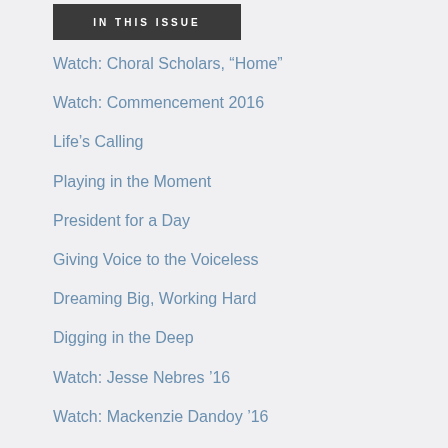IN THIS ISSUE
Watch: Choral Scholars, “Home”
Watch: Commencement 2016
Life’s Calling
Playing in the Moment
President for a Day
Giving Voice to the Voiceless
Dreaming Big, Working Hard
Digging in the Deep
Watch: Jesse Nebres ’16
Watch: Mackenzie Dandoy ’16
Watch: Jimmy Bried ’16